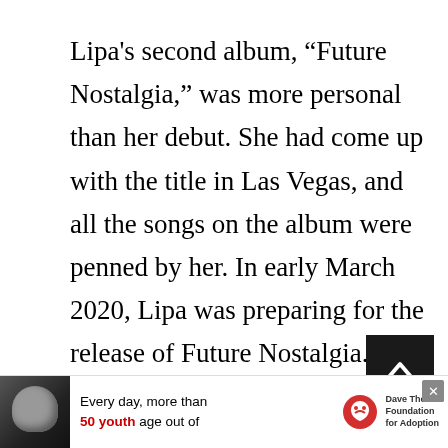Lipa's second album, “Future Nostalgia,” was more personal than her debut. She had come up with the title in Las Vegas, and all the songs on the album were penned by her. In early March 2020, Lipa was preparing for the release of Future Nostalgia. Then the album was released on the Internet when the world came to a standstill because of the pandemic COVID-19. Many other artists put their work on
[Figure (other): Dark square scroll-to-top button with upward chevron arrow in white]
[Figure (other): Advertisement banner: photo of person in hat on left, text 'Every day, more than 50 youth age out of' with Dave Thomas Foundation for Adoption logo, close button X]